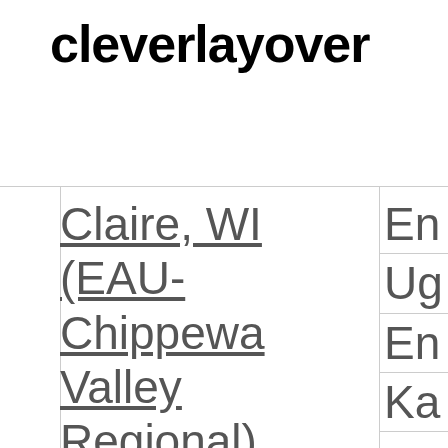cleverlayover
Claire, WI (EAU-Chippewa Valley Regional).
Flights to
En Ug En Ka
Fli